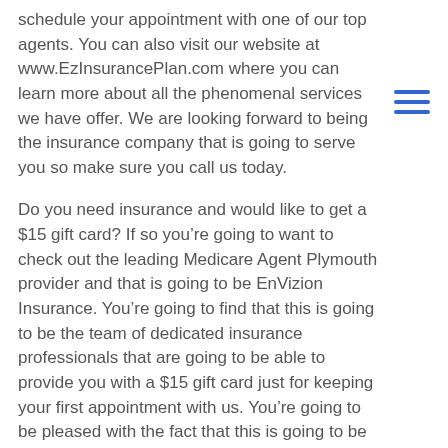schedule your appointment with one of our top agents. You can also visit our website at www.EzInsurancePlan.com where you can learn more about all the phenomenal services we have offer. We are looking forward to being the insurance company that is going to serve you so make sure you call us today.
Do you need insurance and would like to get a $15 gift card? If so you’re going to want to check out the leading Medicare Agent Plymouth provider and that is going to be EnVizion Insurance. You’re going to find that this is going to be the team of dedicated insurance professionals that are going to be able to provide you with a $15 gift card just for keeping your first appointment with us. You’re going to be pleased with the fact that this is going to be the company is going to have all of the necessary services that you are looking for all of your insurance needs.